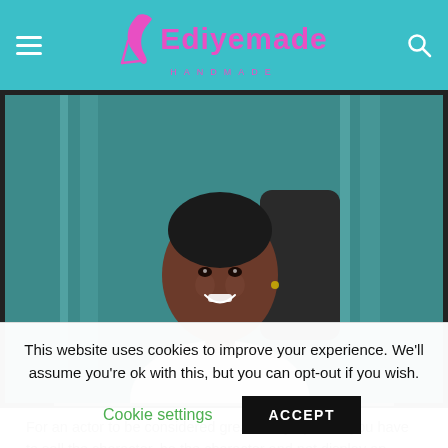Ediyemade Handmade
[Figure (photo): A smiling woman with short natural hair, seated, wearing a light-colored top, photographed in an office-like setting with teal/green background.]
For an actor to be considered great in my opinion, you have to sell the character, be the character and not display an unbelievable performance.
This website uses cookies to improve your experience. We'll assume you're ok with this, but you can opt-out if you wish.
Cookie settings  ACCEPT